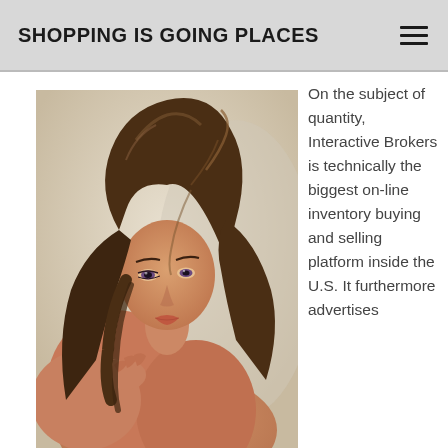SHOPPING IS GOING PLACES
[Figure (photo): A young woman with long dark wavy hair, wearing no top, looking over her shoulder with smoky eye makeup against a light background.]
On the subject of quantity, Interactive Brokers is technically the biggest on-line inventory buying and selling platform inside the U.S. It furthermore advertises